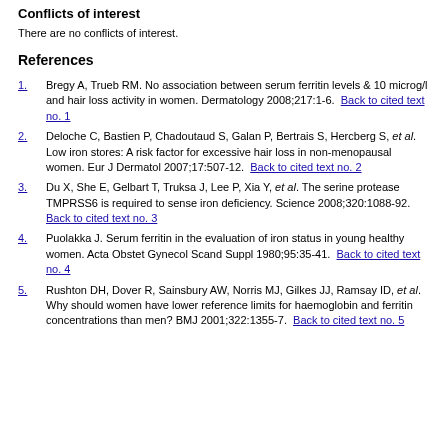Conflicts of interest
There are no conflicts of interest.
References
1. Bregy A, Trueb RM. No association between serum ferritin levels & 10 microg/l and hair loss activity in women. Dermatology 2008;217:1-6. Back to cited text no. 1
2. Deloche C, Bastien P, Chadoutaud S, Galan P, Bertrais S, Hercberg S, et al. Low iron stores: A risk factor for excessive hair loss in non-menopausal women. Eur J Dermatol 2007;17:507-12. Back to cited text no. 2
3. Du X, She E, Gelbart T, Truksa J, Lee P, Xia Y, et al. The serine protease TMPRSS6 is required to sense iron deficiency. Science 2008;320:1088-92. Back to cited text no. 3
4. Puolakka J. Serum ferritin in the evaluation of iron status in young healthy women. Acta Obstet Gynecol Scand Suppl 1980;95:35-41. Back to cited text no. 4
5. Rushton DH, Dover R, Sainsbury AW, Norris MJ, Gilkes JJ, Ramsay ID, et al. Why should women have lower reference limits for haemoglobin and ferritin concentrations than men? BMJ 2001;322:1355-7. Back to cited text no. 5